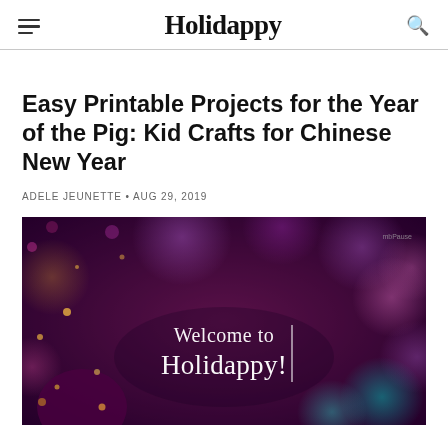Holidappy
Easy Printable Projects for the Year of the Pig: Kid Crafts for Chinese New Year
ADELE JEUNETTE • AUG 29, 2019
[Figure (photo): Bokeh background with colorful lights in purple, pink, magenta and teal colors, with text overlay reading 'Welcome to Holidappy!' and a small watermark in upper right.]